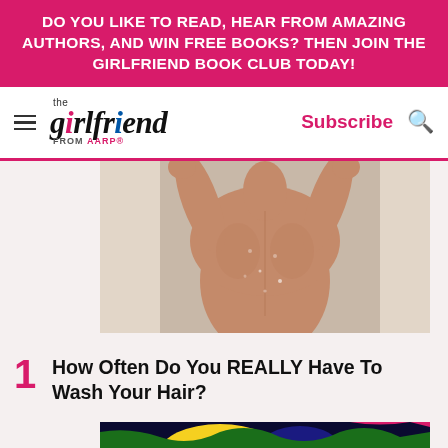DO YOU LIKE TO READ, HEAR FROM AMAZING AUTHORS, AND WIN FREE BOOKS? THEN JOIN THE GIRLFRIEND BOOK CLUB TODAY!
[Figure (logo): The Girlfriend from AARP logo with hamburger menu, Subscribe link and search icon]
[Figure (photo): Person in shower seen from behind, water running down their back]
How Often Do You REALLY Have To Wash Your Hair?
[Figure (illustration): Colorful illustration of a cartoon blonde woman with wide eyes against a psychedelic black blue and green background with a hair dryer]